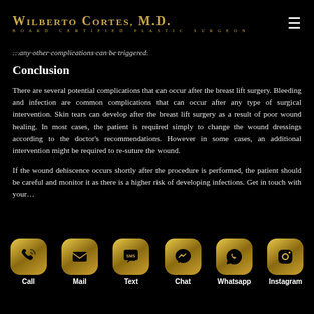WILBERTO CORTES, M.D. | BOARD CERTIFIED PLASTIC SURGEON
…any other complications can be triggered.
Conclusion
There are several potential complications that can occur after the breast lift surgery. Bleeding and infection are common complications that can occur after any type of surgical intervention. Skin tears can develop after the breast lift surgery as a result of poor wound healing. In most cases, the patient is required simply to change the wound dressings according to the doctor's recommendations. However in some cases, an additional intervention might be required to re-suture the wound.
If the wound dehiscence occurs shortly after the procedure is performed, the patient should be careful and monitor it as there is a higher risk of developing infections. Get in touch with your…
Call | Mail | Text | Chat | Whatsapp | Instagram